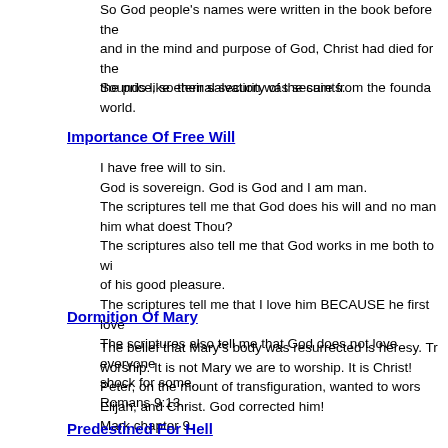So God people's names were written in the book before the and in the mind and purpose of God, Christ had died for the the price, so their salvation was secure from the founda world.
Sounds like eternal security of the saints.
Importance Of Free Will
I have free will to sin.
God is sovereign. God is God and I am man.
The scriptures tell me that God does his will and no man him what doest Thou?
The scriptures also tell me that God works in me both to wi of his good pleasure.
The scriptures tell me that I love him BECAUSE he first love
The scriptures also tell me that God does not love everyone shock for some.
Romans 9:13.
Dormition Of Mary
The belief that Mary's body was resurrected is heresy. Tr worship. It is not Mary we are to worship. It is Christ!
Peter, on the mount of transfiguration, wanted to wors Elijah, and Christ. God corrected him!
Mark chapter 9.
Predestined For Hell